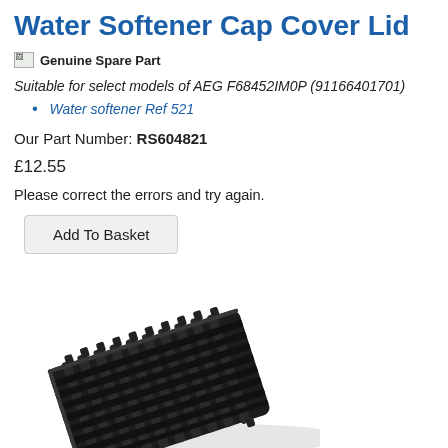Water Softener Cap Cover Lid
Genuine Spare Part
Suitable for select models of AEG F68452IM0P (91166401701)
Water softener Ref 521
Our Part Number: RS604821
£12.55
Please correct the errors and try again.
Add To Basket
[Figure (photo): Black plastic water softener cap cover lid, a ribbed/latticed rectangular part viewed at an angle]